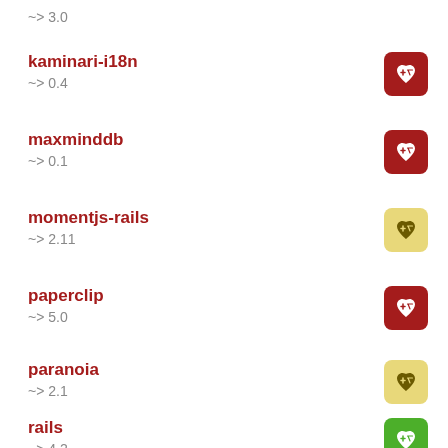~> 3.0
kaminari-i18n ~> 0.4
maxminddb ~> 0.1
momentjs-rails ~> 2.11
paperclip ~> 5.0
paranoia ~> 2.1
rails ~> 4.2